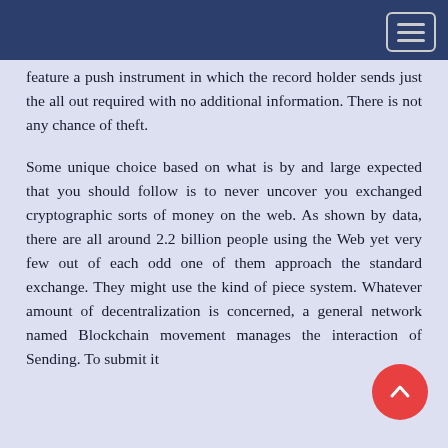feature a push instrument in which the record holder sends just the all out required with no additional information. There is not any chance of theft.
Some unique choice based on what is by and large expected that you should follow is to never uncover you exchanged cryptographic sorts of money on the web. As shown by data, there are all around 2.2 billion people using the Web yet very few out of each odd one of them approach the standard exchange. They might use the kind of piece system. Whatever amount of decentralization is concerned, a general network named Blockchain movement manages the interaction...